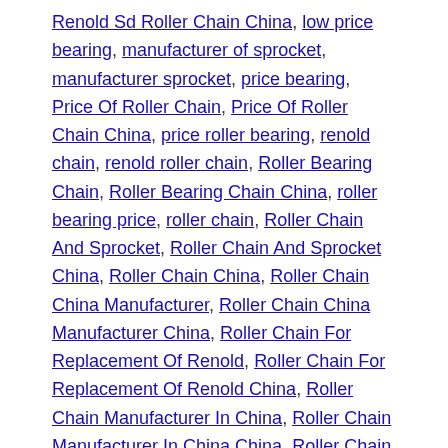Renold Sd Roller Chain China, low price bearing, manufacturer of sprocket, manufacturer sprocket, price bearing, Price Of Roller Chain, Price Of Roller Chain China, price roller bearing, renold chain, renold roller chain, Roller Bearing Chain, Roller Bearing Chain China, roller bearing price, roller chain, Roller Chain And Sprocket, Roller Chain And Sprocket China, Roller Chain China, Roller Chain China Manufacturer, Roller Chain China Manufacturer China, Roller Chain For Replacement Of Renold, Roller Chain For Replacement Of Renold China, Roller Chain Manufacturer In China, Roller Chain Manufacturer In China China, Roller Chain Price, Roller Chain Price China, Roller Chain Quality, Roller Chain Quality China, roller chain sprocket, Roller Chain Sprocket China, Roller Chain Sprocket Price, Roller Chain Sprocket Price China, Roller Chain With Sprocket, Roller Chain With Sprocket China, roller sprocket, sd sprocket, sprocket, sprocket and chain, Sprocket China, Sprocket For Roller Chain, Sprocket For Roller Chain China, sprocket price, sprocket with chain, Sprocket With Chain China, taper roller bearing, top bearing, Top Roller Chain, Top Roller Chain China, Top Roller Chain Manufacturer, Top Roller